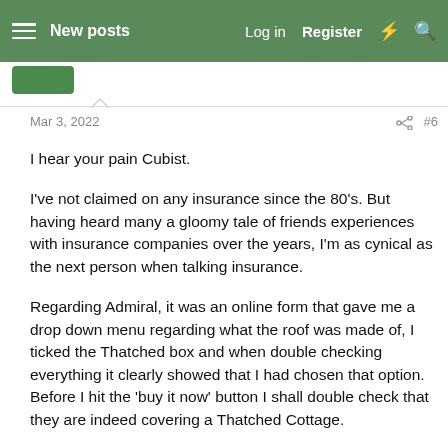New posts  Log in  Register
Mar 3, 2022  #6
I hear your pain Cubist.
I've not claimed on any insurance since the 80's. But having heard many a gloomy tale of friends experiences with insurance companies over the years, I'm as cynical as the next person when talking insurance.
Regarding Admiral, it was an online form that gave me a drop down menu regarding what the roof was made of, I ticked the Thatched box and when double checking everything it clearly showed that I had chosen that option. Before I hit the 'buy it now' button I shall double check that they are indeed covering a Thatched Cottage.
I've listed the value at the cost I've paid for the Cottage. I'm sure lots of folk will tell me that's not enough. But in these